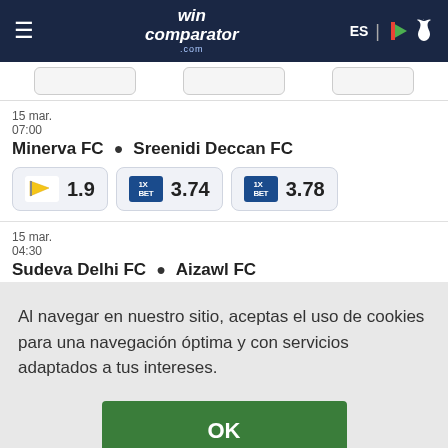wincomparator ES
15 mar. 07:00   Minerva FC • Sreenidi Deccan FC
1.9   3.74   3.78
15 mar. 04:30   Sudeva Delhi FC • Aizawl FC
Al navegar en nuestro sitio, aceptas el uso de cookies para una navegación óptima y con servicios adaptados a tus intereses.
OK